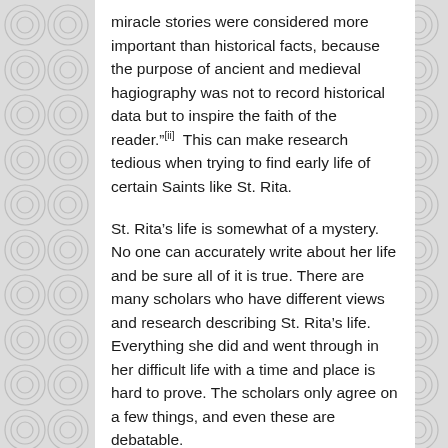miracle stories were considered more important than historical facts, because the purpose of ancient and medieval hagiography was not to record historical data but to inspire the faith of the reader."[ii]  This can make research tedious when trying to find early life of certain Saints like St. Rita.
St. Rita's life is somewhat of a mystery. No one can accurately write about her life and be sure all of it is true. There are many scholars who have different views and research describing St. Rita's life. Everything she did and went through in her difficult life with a time and place is hard to prove. The scholars only agree on a few things, and even these are debatable.
St. Rita was born in Roccaporena, Italy in 1381. She was named "Margherita, of which Rita is the